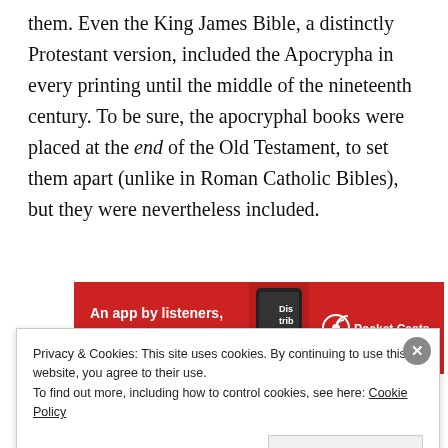them. Even the King James Bible, a distinctly Protestant version, included the Apocrypha in every printing until the middle of the nineteenth century. To be sure, the apocryphal books were placed at the end of the Old Testament, to set them apart (unlike in Roman Catholic Bibles), but they were nevertheless included.
[Figure (other): Advertisement banner for Pocket Casts app. Red background with text 'An app by listeners, for listeners.' and Pocket Casts logo/branding on the right.]
REPORT THIS AD
8. How...
Privacy & Cookies: This site uses cookies. By continuing to use this website, you agree to their use. To find out more, including how to control cookies, see here: Cookie Policy
Close and accept